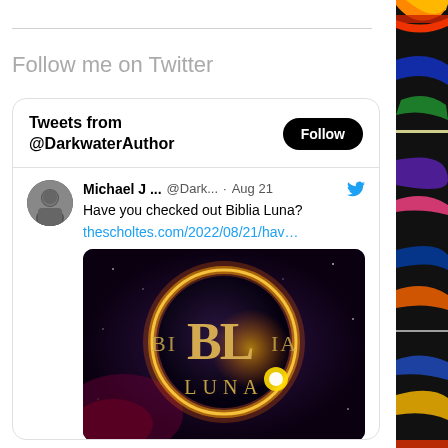Follow me on Twitter
[Figure (screenshot): Twitter widget card showing Tweets from @DarkwaterAuthor with a Follow button and a tweet by Michael J... (@Dark...) dated Aug 21 that reads 'Have you checked out Biblia Luna? thescholtes.com/2022/08/21/hav...' with an image of the Biblia Luna book cover showing an eclipse and the letters BL with BI and IA smaller on the sides, and LUNA below]
[Figure (illustration): Colorful decorative strip on the right side of the page]